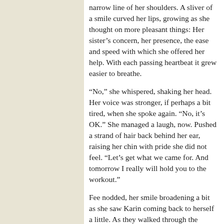narrow line of her shoulders. A sliver of a smile curved her lips, growing as she thought on more pleasant things: Her sister's concern, her presence, the ease and speed with which she offered her help. With each passing heartbeat it grew easier to breathe.
“No,” she whispered, shaking her head. Her voice was stronger, if perhaps a bit tired, when she spoke again. “No, it’s OK.” She managed a laugh, now. Pushed a strand of hair back behind her ear, raising her chin with pride she did not feel. “Let’s get what we came for. And tomorrow I really will hold you to the workout.”
Fee nodded, her smile broadening a bit as she saw Karin coming back to herself a little. As they walked through the aisles, Fee gave her sister as much trouble as